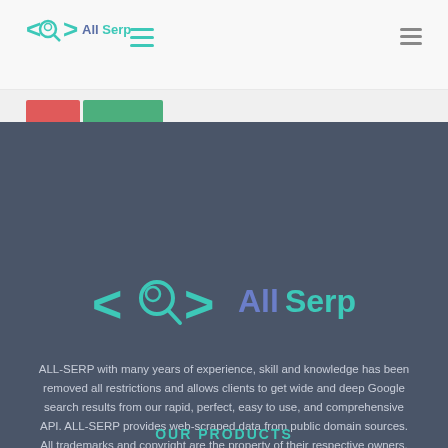<> All Serp — navigation header with hamburger menus
[Figure (logo): All Serp logo large — code brackets with magnifying glass icon, text 'All Serp' in blue and teal on dark background]
ALL-SERP with many years of experience, skill and knowledge has been removed all restrictions and allows clients to get wide and deep Google search results from our rapid, perfect, easy to use, and comprehensive API. ALL-SERP provides web-scraped data from public domain sources. All trademarks and copyright are the property of their respective owners.
OUR PRODUCTS